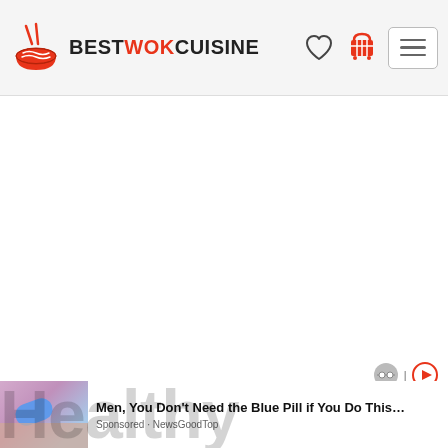BESTWOK CUISINE — navigation header with logo, heart icon, cart icon, menu button
[Figure (other): Large white/blank advertisement or content area in the middle of the page]
[Figure (other): Ad indicator icons row with circular avatar icon and play/forward arrow icon]
[Figure (other): Advertisement banner: thumbnail image on left (blue pill photo), ad text reads 'Men, You Don't Need the Blue Pill if You Do This…', source label 'Sponsored · NewsGoodTop']
Healthy